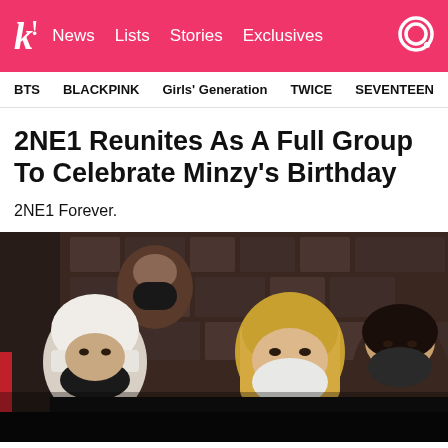k! News Lists Stories Exclusives
BTS   BLACKPINK   Girls' Generation   TWICE   SEVENTEEN
2NE1 Reunites As A Full Group To Celebrate Minzy's Birthday
2NE1 Forever.
[Figure (photo): Four members of 2NE1 posing together, all wearing face masks. One person in front-left wears a white beanie hat with a Puma logo. Another person on the right has blonde hair. The background is dark indoors.]